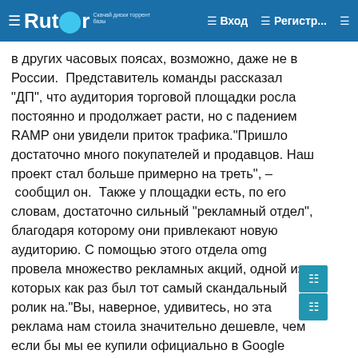Rutor — Вход — Регистр...
в других часовых поясах, возможно, даже не в России.  Представитель команды рассказал "ДП", что аудитория торговой площадки росла постоянно и продолжает расти, но с падением RAMP они увидели приток трафика."Пришло достаточно много покупателей и продавцов. Наш проект стал больше примерно на треть", – сообщил он.  Также у площадки есть, по его словам, достаточно сильный "рекламный отдел", благодаря которому они привлекают новую аудиторию. С помощью этого отдела omg провела множество рекламных акций, одной из которых как раз был тот самый скандальный ролик на."Вы, наверное, удивитесь, но эта реклама нам стоила значительно дешевле, чем если бы мы ее купили официально в Google adwords. А реализовать ее удалось благодаря уязвимостям в системе. Еще добавлю, что эта реклама была строго таргетированной, показ детям и нецелевой аудитории исключен", – написал он в сообщениях.Также он подчеркнул, что сейчас площадка не видит крупных конкурентов в Даркнете, а что на самом деле ... RAMP ...